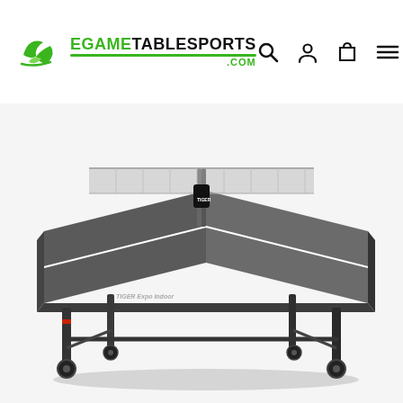[Figure (logo): EgameTableSports.com logo with green bird/shield icon and navigation icons (search, user, cart, menu)]
[Figure (photo): Tiger Expo Indoor table tennis table, grey top with white lines and net, black frame and legs with wheels, shown at an angle]